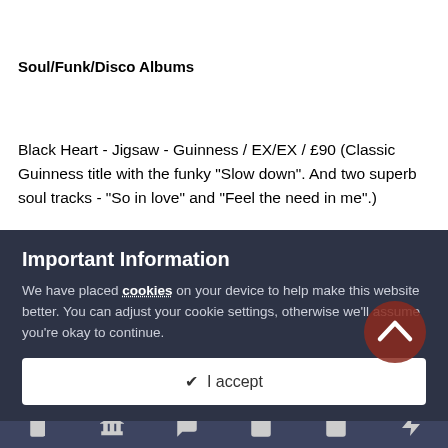Soul/Funk/Disco Albums
Black Heart - Jigsaw - Guinness / EX/EX / £90 (Classic Guinness title with the funky “Slow down”. And two superb soul tracks - “So in love” and “Feel the need in me”.)
Important Information
We have placed cookies on your device to help make this website better. You can adjust your cookie settings, otherwise we’ll assume you’re okay to continue.
✔ I accept
and the feel good dancer “You made my life so bright”.)
Greg Clayborn - The G. Man from me to you - Gue / EX/NM /